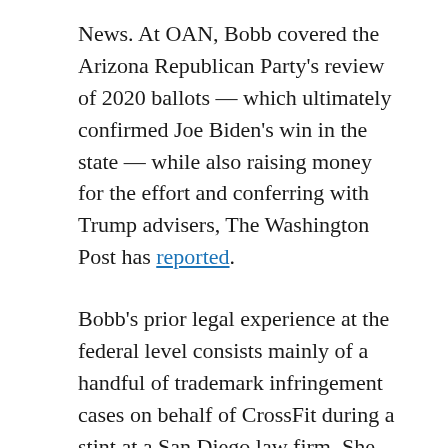News. At OAN, Bobb covered the Arizona Republican Party's review of 2020 ballots — which ultimately confirmed Joe Biden's win in the state — while also raising money for the effort and conferring with Trump advisers, The Washington Post has reported.
Bobb's prior legal experience at the federal level consists mainly of a handful of trademark infringement cases on behalf of CrossFit during a stint at a San Diego law firm. She did not respond to requests for comment.
Trump's other lawyer currently based in Florida is Lindsey Halligan, whose practice, according to a professional biography, focuses on